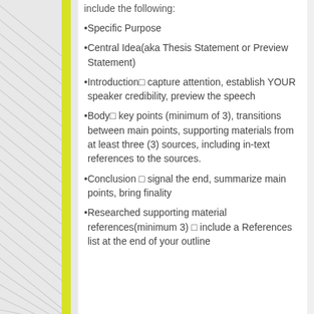include the following:
Specific Purpose
Central Idea(aka Thesis Statement or Preview Statement)
Introduction□ capture attention, establish YOUR speaker credibility, preview the speech
Body□ key points (minimum of 3), transitions between main points, supporting materials from at least three (3) sources, including in-text references to the sources.
Conclusion □ signal the end, summarize main points, bring finality
Researched supporting material references(minimum 3) □ include a References list at the end of your outline